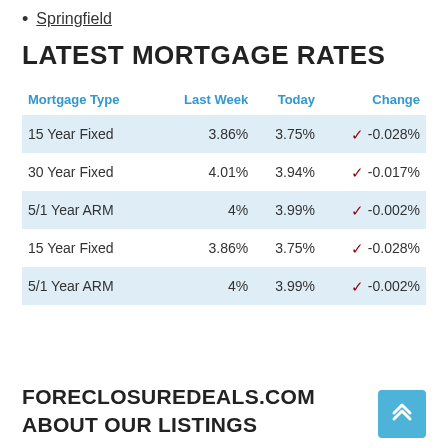Springfield
LATEST MORTGAGE RATES
| Mortgage Type | Last Week | Today | Change |
| --- | --- | --- | --- |
| 15 Year Fixed | 3.86% | 3.75% | ▼ -0.028% |
| 30 Year Fixed | 4.01% | 3.94% | ▼ -0.017% |
| 5/1 Year ARM | 4% | 3.99% | ▼ -0.002% |
| 15 Year Fixed | 3.86% | 3.75% | ▼ -0.028% |
| 5/1 Year ARM | 4% | 3.99% | ▼ -0.002% |
FORECLOSUREDEALS.COM ABOUT OUR LISTINGS